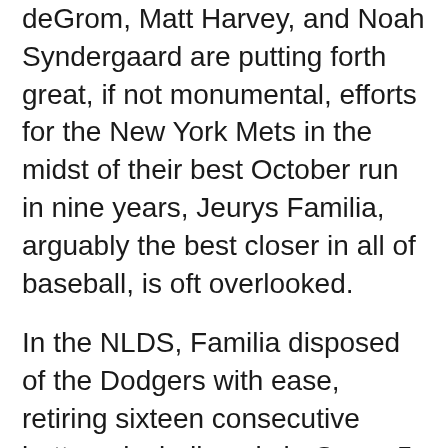deGrom, Matt Harvey, and Noah Syndergaard are putting forth great, if not monumental, efforts for the New York Mets in the midst of their best October run in nine years, Jeurys Familia, arguably the best closer in all of baseball, is oft overlooked.
In the NLDS, Familia disposed of the Dodgers with ease, retiring sixteen consecutive batters, including six in Game 5, by which Familia recorded a six-out save, a feat akin to the efforts Rivera regularly accomplished for the Yankees when he was at the peak of his powers.
Despite what Noah Syndergaard did to dispatch of the Dodgers in the seventh inning of Game 5, coming in to spell Jacob deGrom after a bullish effort,